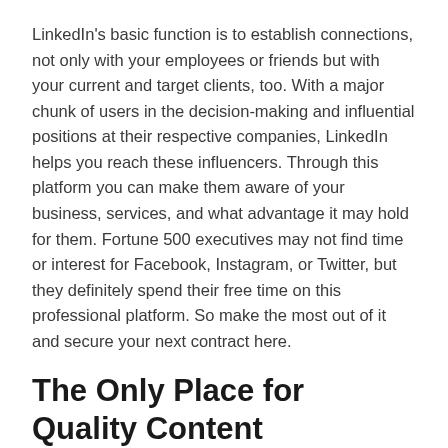LinkedIn's basic function is to establish connections, not only with your employees or friends but with your current and target clients, too. With a major chunk of users in the decision-making and influential positions at their respective companies, LinkedIn helps you reach these influencers. Through this platform you can make them aware of your business, services, and what advantage it may hold for them. Fortune 500 executives may not find time or interest for Facebook, Instagram, or Twitter, but they definitely spend their free time on this professional platform. So make the most out of it and secure your next contract here.
The Only Place for Quality Content